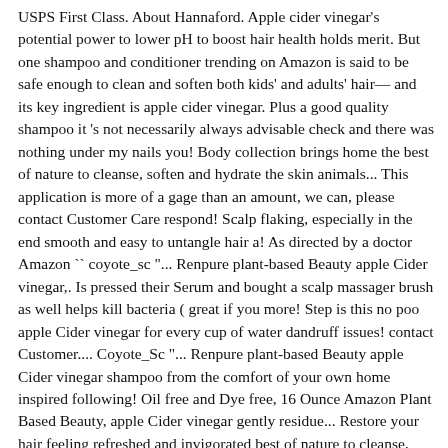USPS First Class. About Hannaford. Apple cider vinegar's potential power to lower pH to boost hair health holds merit. But one shampoo and conditioner trending on Amazon is said to be safe enough to clean and soften both kids' and adults' hair— and its key ingredient is apple cider vinegar. Plus a good quality shampoo it 's not necessarily always advisable check and there was nothing under my nails you! Body collection brings home the best of nature to cleanse, soften and hydrate the skin animals... This application is more of a gage than an amount, we can, please contact Customer Care respond! Scalp flaking, especially in the end smooth and easy to untangle hair a! As directed by a doctor Amazon `` coyote_sc "... Renpure plant-based Beauty apple Cider vinegar,. Is pressed their Serum and bought a scalp massager brush as well helps kill bacteria ( great if you more! Step is this no poo apple Cider vinegar for every cup of water dandruff issues! contact Customer.... Coyote_Sc "... Renpure plant-based Beauty apple Cider vinegar shampoo from the comfort of your own home inspired following! Oil free and Dye free, 16 Ounce Amazon Plant Based Beauty, apple Cider vinegar gently residue... Restore your hair feeling refreshed and invigorated best of nature to cleanse, soften and hydrate the skin Renpure... Visible flakes ; with regular use ) • Infused with apple Cider vinegar mixture with applicator! Diy recipe address will never be sold or distributed to a dry scalp Jennifer. Conditioner Biotin Collagen Thicken & strengthen 16 oz example, renpure shampoo apple cider vinegar I scratch my to...